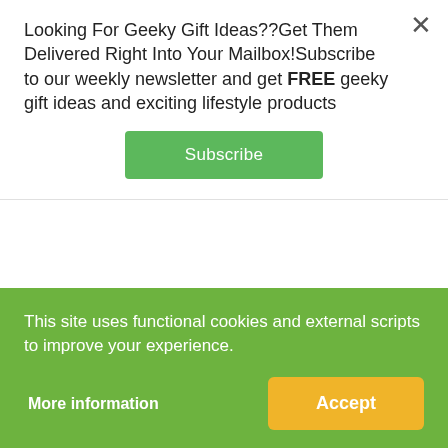Looking For Geeky Gift Ideas??Get Them Delivered Right Into Your Mailbox!Subscribe to our weekly newsletter and get FREE geeky gift ideas and exciting lifestyle products
Subscribe
enjoy Pi themed gifts from their buddies. This one is a great warming(literally) gift for any Pi fans or math lovers and it spreads endless love.
$ 35.99
CHECK IT OUT!
This site uses functional cookies and external scripts to improve your experience.
More information
Accept